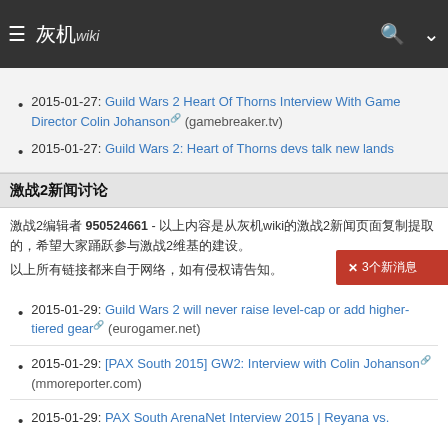灰机wiki (navigation bar with hamburger menu, logo, search and dropdown icons)
2015-01-27: Guild Wars 2 Heart Of Thorns Interview With Game Director Colin Johanson (gamebreaker.tv)
2015-01-27: Guild Wars 2: Heart of Thorns devs talk new lands (partial/cut off)
激战2新闻讨论
激战2编辑者 950524661 - 以上内容是从灰机wiki的激战2新闻页面复制提取的，希望大家踊跃参与激战2维基的建设。
以上所有链接都来自于网络，如有侵权请告知。
2015-01-29: Guild Wars 2 will never raise level-cap or add higher-tiered gear (eurogamer.net)
2015-01-29: [PAX South 2015] GW2: Interview with Colin Johanson (mmoreporter.com)
2015-01-29: PAX South ArenaNet Interview 2015 | Reyana vs. (partial/cut off)